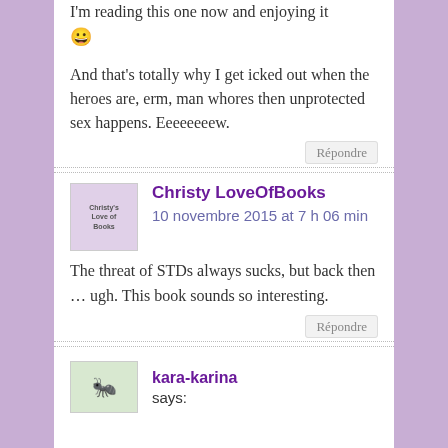I'm reading this one now and enjoying it 😀
And that's totally why I get icked out when the heroes are, erm, man whores then unprotected sex happens. Eeeeeeeew.
Répondre
Christy LoveOfBooks says:
10 novembre 2015 at 7 h 06 min
The threat of STDs always sucks, but back then … ugh. This book sounds so interesting.
Répondre
kara-karina says: